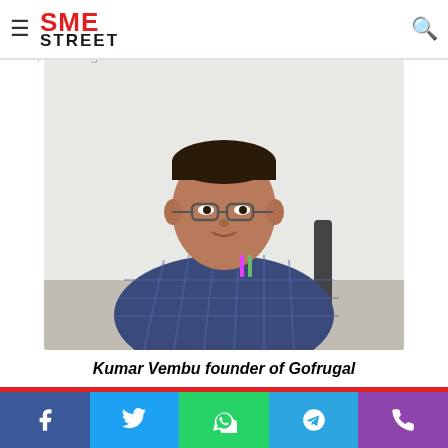SME STREET
Faiz Askari: In the age of digitisation, what are some of the challenges faced by retailers of various sizes–small, mid, and large chains?
[Figure (photo): Portrait photo of Kumar Vembu, founder of Gofrugal, a man wearing glasses and a blue checked shirt, seated at a desk]
Kumar Vembu founder of Gofrugal
Digital is redefining service expectations of consumers
Facebook | Twitter | WhatsApp | Telegram | Phone